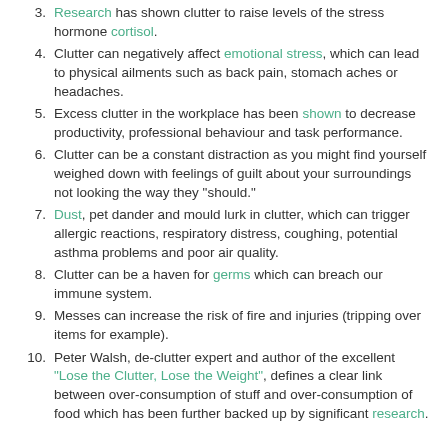Research has shown clutter to raise levels of the stress hormone cortisol.
Clutter can negatively affect emotional stress, which can lead to physical ailments such as back pain, stomach aches or headaches.
Excess clutter in the workplace has been shown to decrease productivity, professional behaviour and task performance.
Clutter can be a constant distraction as you might find yourself weighed down with feelings of guilt about your surroundings not looking the way they "should."
Dust, pet dander and mould lurk in clutter, which can trigger allergic reactions, respiratory distress, coughing, potential asthma problems and poor air quality.
Clutter can be a haven for germs which can breach our immune system.
Messes can increase the risk of fire and injuries (tripping over items for example).
Peter Walsh, de-clutter expert and author of the excellent "Lose the Clutter, Lose the Weight", defines a clear link between over-consumption of stuff and over-consumption of food which has been further backed up by significant research.